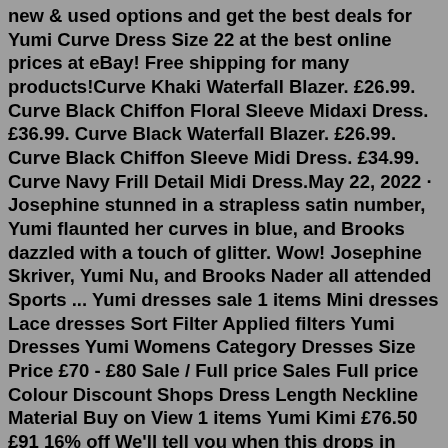new & used options and get the best deals for Yumi Curve Dress Size 22 at the best online prices at eBay! Free shipping for many products!Curve Khaki Waterfall Blazer. £26.99. Curve Black Chiffon Floral Sleeve Midaxi Dress. £36.99. Curve Black Waterfall Blazer. £26.99. Curve Black Chiffon Sleeve Midi Dress. £34.99. Curve Navy Frill Detail Midi Dress.May 22, 2022 · Josephine stunned in a strapless satin number, Yumi flaunted her curves in blue, and Brooks dazzled with a touch of glitter. Wow! Josephine Skriver, Yumi Nu, and Brooks Nader all attended Sports ... Yumi dresses sale 1 items Mini dresses Lace dresses Sort Filter Applied filters Yumi Dresses Yumi Womens Category Dresses Size Price £70 - £80 Sale / Full price Sales Full price Colour Discount Shops Dress Length Neckline Material Buy on View 1 items Yumi Kimi £76.50 £91 16% off We'll tell you when this drops in price. Viewed 1 of 1 itemsYumi Nu (born September 23, 1996) is an American model and singer-songwriter. She appeared on the cover of the Sports Illustrated Swimsuit Issue